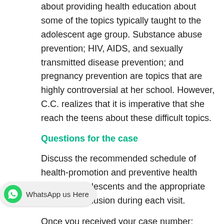about providing health education about some of the topics typically taught to the adolescent age group. Substance abuse prevention; HIV, AIDS, and sexually transmitted disease prevention; and pregnancy prevention are topics that are highly controversial at her school. However, C.C. realizes that it is imperative that she reach the teens about these difficult topics.
Questions for the case
Discuss the recommended schedule of health-promotion and preventive health visits for adolescents and the appropriate topics for inclusion during each visit.
Once you received your case number; answer the specific question on the table above. Then, continue to discuss the 3 topics listed below for your case:
Discuss appropriate interventions for adolescents having an eating disorder. Describe how to initiate conversations with adolescents about this issue.